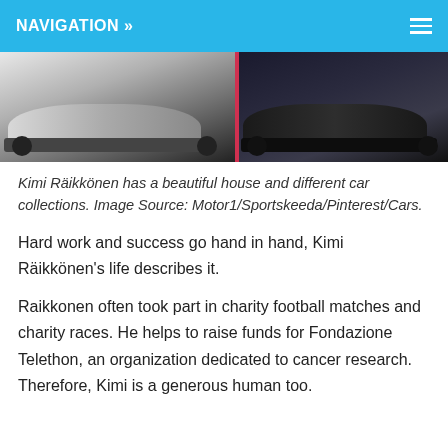NAVIGATION »
[Figure (photo): Two sports cars side by side — a silver/grey car on the left and a dark/black car on the right, separated by a red vertical line.]
Kimi Räikkönen has a beautiful house and different car collections. Image Source: Motor1/Sportskeeda/Pinterest/Cars.
Hard work and success go hand in hand, Kimi Räikkönen's life describes it.
Raikkonen often took part in charity football matches and charity races. He helps to raise funds for Fondazione Telethon, an organization dedicated to cancer research. Therefore, Kimi is a generous human too.